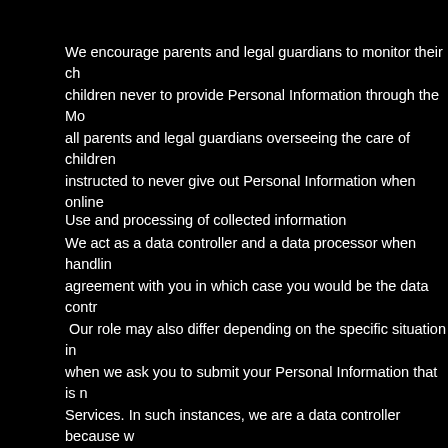We encourage parents and legal guardians to monitor their ch children never to provide Personal Information through the Mo all parents and legal guardians overseeing the care of children instructed to never give out Personal Information when online
Use and processing of collected information
We act as a data controller and a data processor when handlin agreement with you in which case you would be the data contr Our role may also differ depending on the specific situation in when we ask you to submit your Personal Information that is n Services. In such instances, we are a data controller because w Information. We act in the capacity of a data processor in situations when y Services. We do not own, control, or make decisions about the s processed only in accordance with your instructions. In such i controller. In order to make the Mobile Application and Services available certain Personal Information. If you do not provide the informa requested products or services. Any of the information we colle Application and Services.
Processing your Personal Information depends on how you inte the world and if one of the following applies: (i) you have given information is necessary for the performance of an agreem